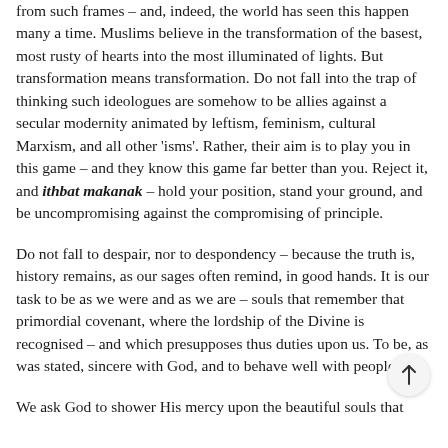from such frames – and, indeed, the world has seen this happen many a time. Muslims believe in the transformation of the basest, most rusty of hearts into the most illuminated of lights. But transformation means transformation. Do not fall into the trap of thinking such ideologues are somehow to be allies against a secular modernity animated by leftism, feminism, cultural Marxism, and all other 'isms'. Rather, their aim is to play you in this game – and they know this game far better than you. Reject it, and ithbat makanak – hold your position, stand your ground, and be uncompromising against the compromising of principle.
Do not fall to despair, nor to despondency – because the truth is, history remains, as our sages often remind, in good hands. It is our task to be as we were and as we are – souls that remember that primordial covenant, where the lordship of the Divine is recognised – and which presupposes thus duties upon us. To be, as was stated, sincere with God, and to behave well with people.
We ask God to shower His mercy upon the beautiful souls that